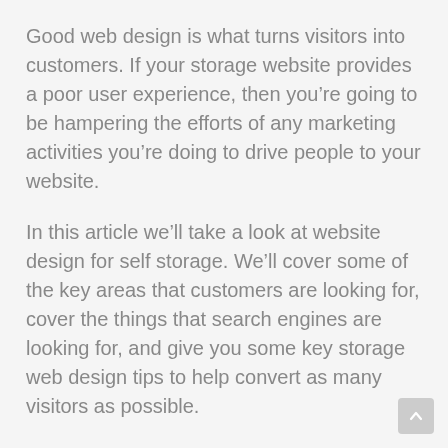Good web design is what turns visitors into customers. If your storage website provides a poor user experience, then you're going to be hampering the efforts of any marketing activities you're doing to drive people to your website.
In this article we'll take a look at website design for self storage. We'll cover some of the key areas that customers are looking for, cover the things that search engines are looking for, and give you some key storage web design tips to help convert as many visitors as possible.